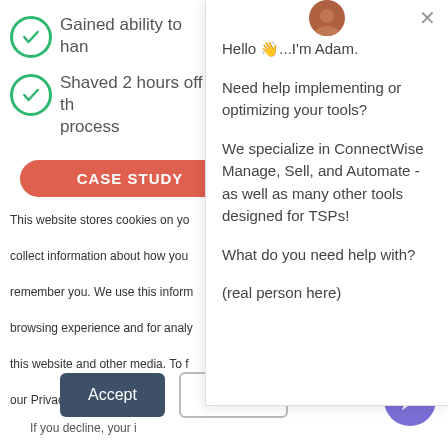Gained ability to handle…
Shaved 2 hours off the… process
[Figure (screenshot): Orange/red rounded rectangle button labeled CASE STUDY]
This website stores cookies on your computer to collect information about how you interact with us, remember you. We use this information to improve your browsing experience and for analytics about visitors to this website and other media. To find out more, see our Privacy Policy
If you decline, your information won't be tracked when you visit this website. A single cookie will be used in your browser to remember your preference not to be tracked.
[Figure (screenshot): Cookie consent chat popup with avatar of Adam. Text: Hello 👋...I'm Adam. Need help implementing or optimizing your tools? We specialize in ConnectWise Manage, Sell, and Automate - as well as many other tools designed for TSPs! What do you need help with? (real person here). With X close button.]
Accept
Decline